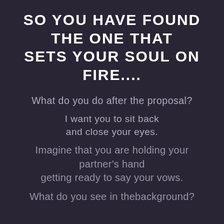SO YOU HAVE FOUND THE ONE THAT SETS YOUR SOUL ON FIRE....
What do you do after the proposal?
I want you to sit back and close your eyes.
Imagine that you are holding your partner's hand getting ready to say your vows.
What do you see in thebackground?